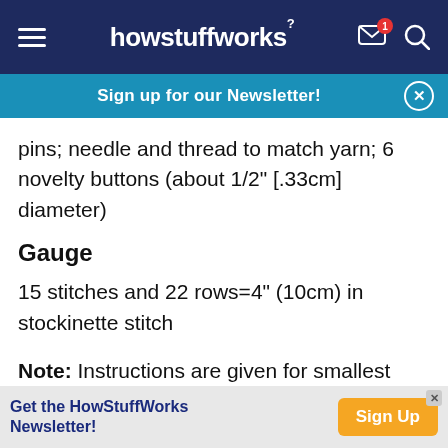howstuffworks
Sign up for our Newsletter!
pins; needle and thread to match yarn; 6 novelty buttons (about 1/2" [.33cm] diameter)
Gauge
15 stitches and 22 rows=4" (10cm) in stockinette stitch
Note: Instructions are given for smallest size; numbers for larger sizes are in brackets. When only 1 number is given, it applies to all sizes.
Get the HowStuffWorks Newsletter! Sign Up